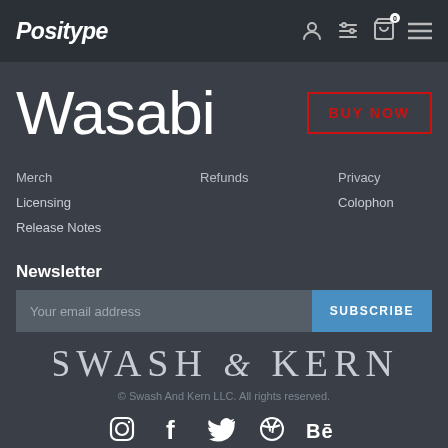Positype — navigation header with icons
Wasabi
BUY NOW
Merch
Licensing
Release Notes
Refunds
Privacy
Colophon
Newsletter
Your email address
SUBSCRIBE
[Figure (logo): SWASH & KERN logo in light gray uppercase lettering with decorative ampersand]
© Swash And Kern LLC. All rights reserved.
[Figure (infographic): Social media icons row: Instagram, Facebook, Twitter, Dribbble, Behance]